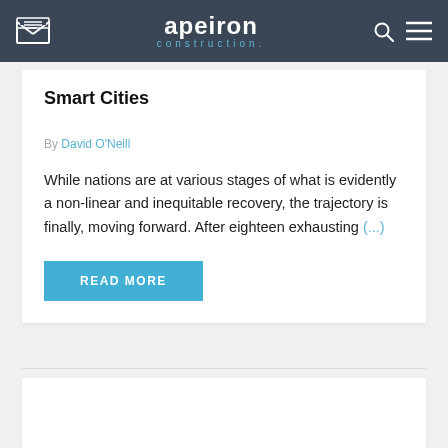apeiron construction.
Smart Cities
By David O'Neill
While nations are at various stages of what is evidently a non-linear and inequitable recovery, the trajectory is finally, moving forward. After eighteen exhausting (...)
READ MORE